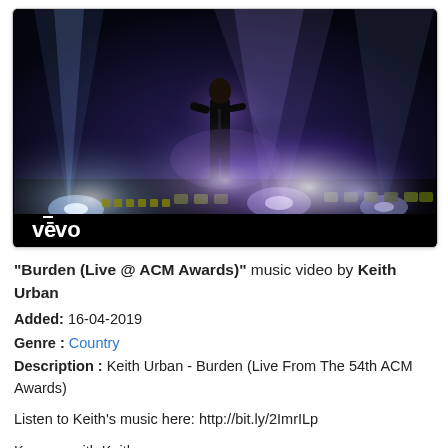[Figure (screenshot): Vevo music video thumbnail showing a performer on stage with dramatic stage lighting and the Vevo logo in the lower left corner. Dark blue/purple lighting with bright spotlights.]
"Burden (Live @ ACM Awards)" music video by Keith Urban
Added: 16-04-2019
Genre : Country
Description : Keith Urban - Burden (Live From The 54th ACM Awards)
Listen to Keith's music here: http://bit.ly/2ImrILp
Keep up with Keith: